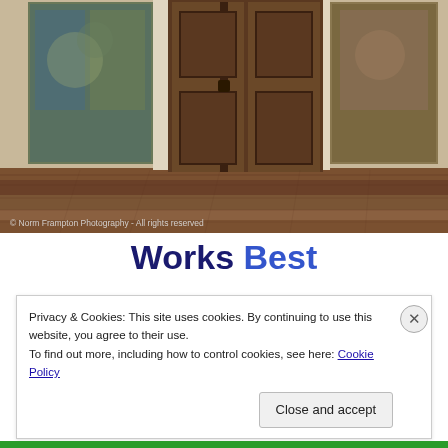[Figure (photo): Interior of a historic room or museum with dark wooden double doors in the center, tapestries hanging on the walls to the left and right, and a polished dark wood floor. Photo credit: © Norm Frampton Photography - All rights reserved]
© Norm Frampton Photography - All rights reserved
Works Best
Privacy & Cookies: This site uses cookies. By continuing to use this website, you agree to their use.
To find out more, including how to control cookies, see here: Cookie Policy
Close and accept